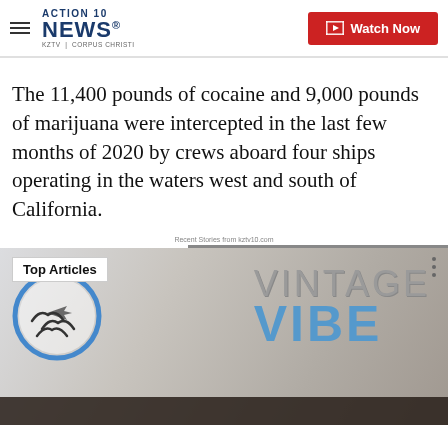ACTION 10 NEWS KZTV | CORPUS CHRISTI — Watch Now
The 11,400 pounds of cocaine and 9,000 pounds of marijuana were intercepted in the last few months of 2020 by crews aboard four ships operating in the waters west and south of California.
Recent Stories from kztv10.com
[Figure (photo): Photo showing a vehicle or sign with 'VINTAGE VIBE' text and a circular logo with birds. Overlay shows 'Top Articles' badge.]